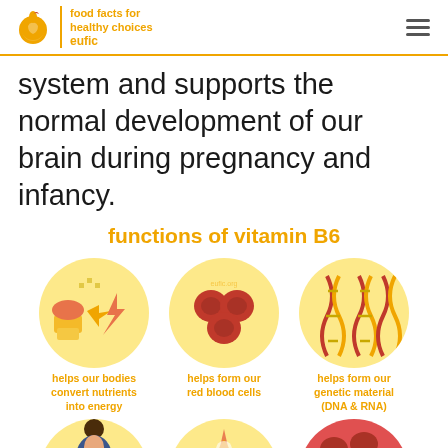eufic | food facts for healthy choices
system and supports the normal development of our brain during pregnancy and infancy.
[Figure (infographic): Infographic titled 'functions of vitamin B6' showing three circular icons in the top row: (1) foods converting to energy with arrow icons, captioned 'helps our bodies convert nutrients into energy'; (2) red blood cells, captioned 'helps form our red blood cells'; (3) DNA double helix strands, captioned 'helps form our genetic material (DNA & RNA)'. A second partial row shows three more circles at the bottom edge (partially cut off): a pregnant woman figure, a red/orange icon, and a red spotted circle.]